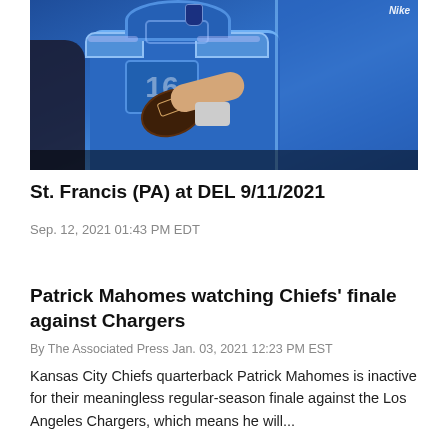[Figure (photo): NFL quarterback in blue Detroit Lions uniform holding a football, mid-action shot with other players visible in background]
St. Francis (PA) at DEL 9/11/2021
Sep. 12, 2021 01:43 PM EDT
Patrick Mahomes watching Chiefs' finale against Chargers
By The Associated Press Jan. 03, 2021 12:23 PM EST
Kansas City Chiefs quarterback Patrick Mahomes is inactive for their meaningless regular-season finale against the Los Angeles Chargers, which means he will...